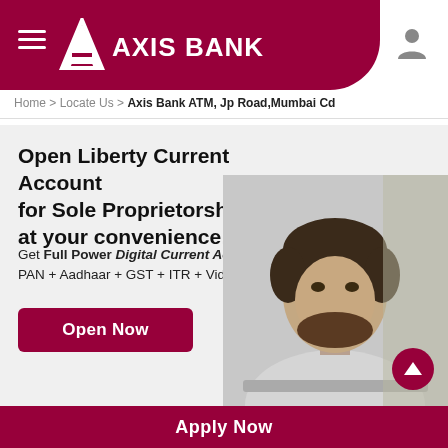[Figure (logo): Axis Bank logo with white A-shape mark and AXIS BANK text on maroon header background with hamburger menu icon]
Home > Locate Us > Axis Bank ATM, Jp Road,Mumbai Cd
Open Liberty Current Account for Sole Proprietorshp firm at your convenience!
Get Full Power Digital Current Account with just PAN + Aadhaar + GST + ITR + Video KYC.
[Figure (illustration): Open Now button (maroon) overlaid on a black-and-white photo of a young man looking at a laptop]
Apply Now